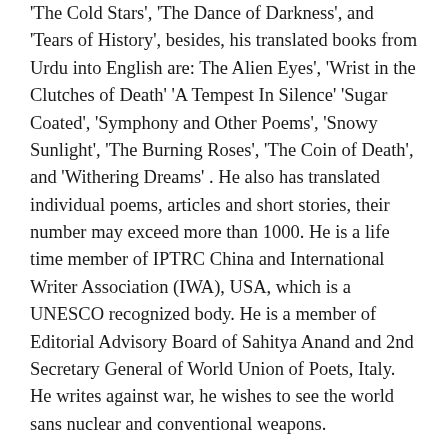'The Cold Stars', 'The Dance of Darkness', and 'Tears of History', besides, his translated books from Urdu into English are: The Alien Eyes', 'Wrist in the Clutches of Death' 'A Tempest In Silence' 'Sugar Coated', 'Symphony and Other Poems', 'Snowy Sunlight', 'The Burning Roses', 'The Coin of Death', and 'Withering Dreams' . He also has translated individual poems, articles and short stories, their number may exceed more than 1000. He is a life time member of IPTRC China and International Writer Association (IWA), USA, which is a UNESCO recognized body. He is a member of Editorial Advisory Board of Sahitya Anand and 2nd Secretary General of World Union of Poets, Italy. He writes against war, he wishes to see the world sans nuclear and conventional weapons.